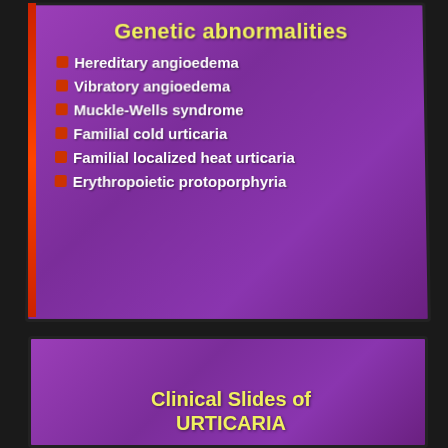[Figure (photo): Photograph of a projected presentation slide on a purple background with yellow title 'Genetic abnormalities' and a list of white bullet points including: Hereditary angioedema, Vibratory angioedema, Muckle-Wells syndrome, Familial cold urticaria, Familial localized heat urticaria, Erythropoietic protoporphyria]
[Figure (photo): Photograph of a second projected presentation slide on a purple background showing the beginning of the title 'Clinical Slides of URTICARIA']